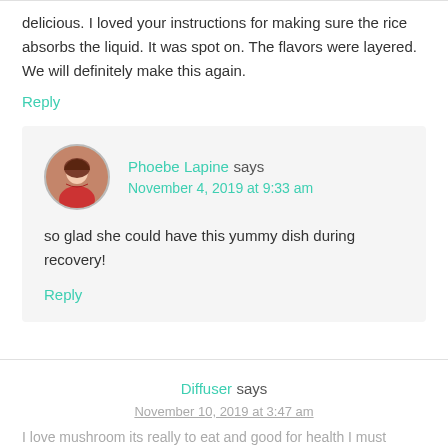delicious. I loved your instructions for making sure the rice absorbs the liquid. It was spot on. The flavors were layered. We will definitely make this again.
Reply
Phoebe Lapine says
November 4, 2019 at 9:33 am
so glad she could have this yummy dish during recovery!
Reply
Diffuser says
November 10, 2019 at 3:47 am
I love mushroom its really to eat and good for health I must